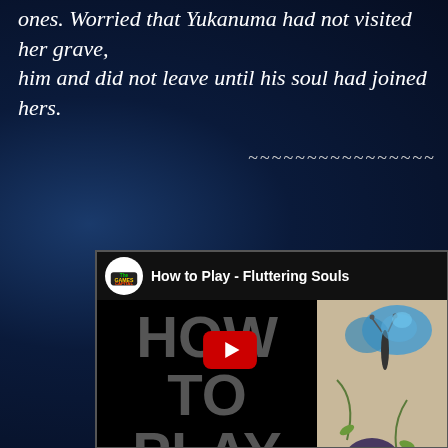ones. Worried that Yukanuma had not visited her grave, him and did not leave until his soul had joined hers.
~~~~~~~~~~~~~~~~
[Figure (screenshot): YouTube video thumbnail for 'How to Play - Fluttering Souls' by The Games Capital channel. Shows a black background with large gray text reading HOW TO PLAY, a YouTube play button overlay, and a butterfly illustration panel on the right side.]